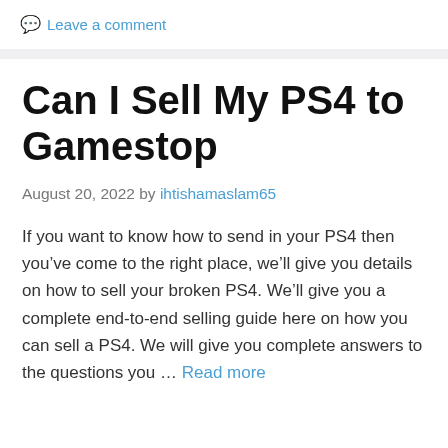💬 Leave a comment
Can I Sell My PS4 to Gamestop
August 20, 2022 by ihtishamaslam65
If you want to know how to send in your PS4 then you've come to the right place, we'll give you details on how to sell your broken PS4. We'll give you a complete end-to-end selling guide here on how you can sell a PS4. We will give you complete answers to the questions you … Read more